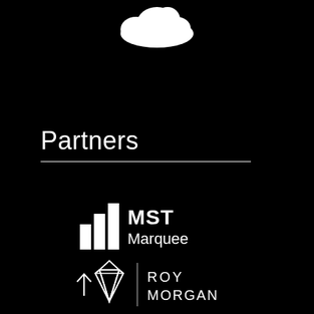[Figure (logo): Salesforce cloud logo (white) at top center]
Partners
[Figure (logo): MST Marquee logo with bar chart icon and text]
[Figure (logo): Roy Morgan logo with diamond icon and vertical divider]
[Figure (other): Upward arrow icon]